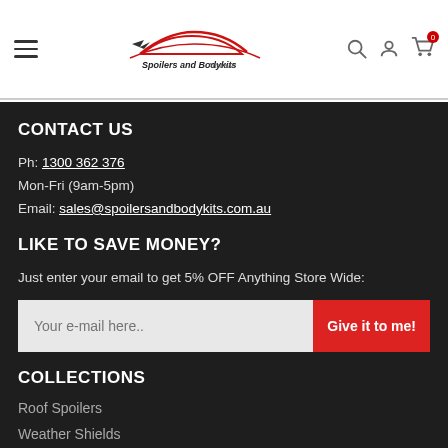[Figure (logo): Spoilers and Bodykits Australia logo with car silhouette in red and black text]
CONTACT US
Ph: 1300 362 376
Mon-Fri (9am-5pm)
Email: sales@spoilersandbodykits.com.au
LIKE TO SAVE MONEY?
Just enter your email to get 5% OFF Anything Store Wide:
[Figure (screenshot): Email input field with placeholder 'Your e-mail here..' and red button 'Give it to me!']
COLLECTIONS
Roof Spoilers
Weather Shields